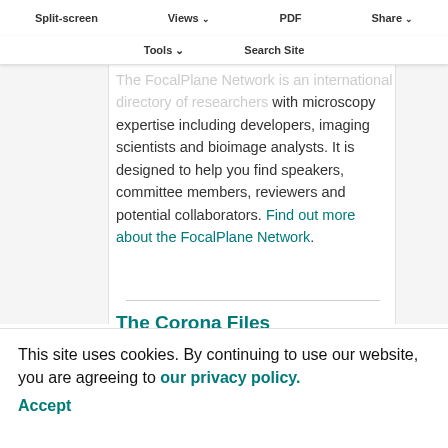Split-screen | Views | PDF | Share
Tools | Search Site
The FocalPlane Network is an international directory of researchers with microscopy expertise including developers, imaging scientists and bioimage analysts. It is designed to help you find speakers, committee members, reviewers and potential collaborators. Find out more about the FocalPlane Network.
The Corona Files
This site uses cookies. By continuing to use our website, you are agreeing to our privacy policy. Accept